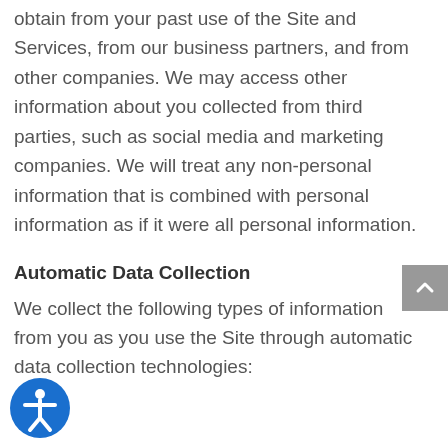obtain from your past use of the Site and Services, from our business partners, and from other companies. We may access other information about you collected from third parties, such as social media and marketing companies. We will treat any non-personal information that is combined with personal information as if it were all personal information.
Automatic Data Collection
We collect the following types of information from you as you use the Site through automatic data collection technologies: